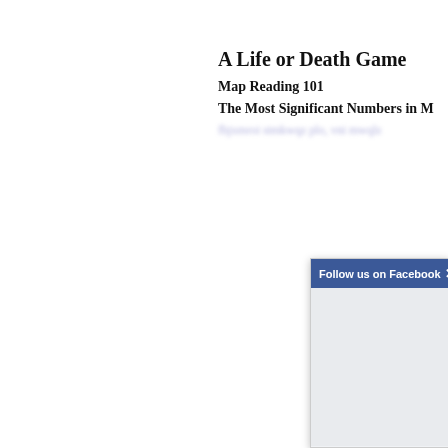A Life or Death Game
Map Reading 101
The Most Significant Numbers in M
[Figure (screenshot): Facebook 'Follow us on Facebook' popup dialog with blue header bar, close X button, and gray empty body area]